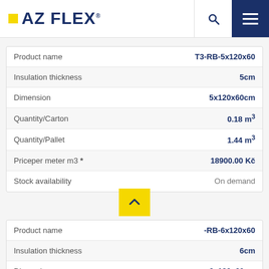AZ FLEX
| Property | Value |
| --- | --- |
| Product name | T3-RB-5x120x60 |
| Insulation thickness | 5cm |
| Dimension | 5x120x60cm |
| Quantity/Carton | 0.18 m³ |
| Quantity/Pallet | 1.44 m³ |
| Priceper meter m3 * | 18900.00 Kč |
| Stock availability | On demand |
| Property | Value |
| --- | --- |
| Product name | -RB-6x120x60 |
| Insulation thickness | 6cm |
| Dimension | 6x120x60cm |
| Quantity/Carton | 0.1728 m³ |